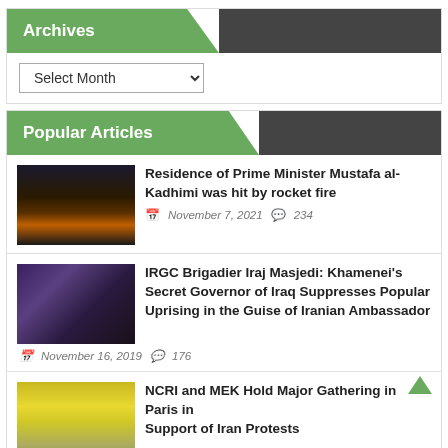Archives
Select Month
Popular Articles
[Figure (photo): Nighttime scene with fire and explosions in the distance, dark cityscape]
Residence of Prime Minister Mustafa al-Kadhimi was hit by rocket fire
November 7, 2021  234
[Figure (photo): Man in dark clothing speaking at a podium in a decoratively tiled interior]
IRGC Brigadier Iraj Masjedi: Khamenei's Secret Governor of Iraq Suppresses Popular Uprising in the Guise of Iranian Ambassador
November 16, 2019  176
[Figure (photo): Outdoor gathering with yellow balloons and decorations]
NCRI and MEK Hold Major Gathering in Paris in Support of Iran Protests